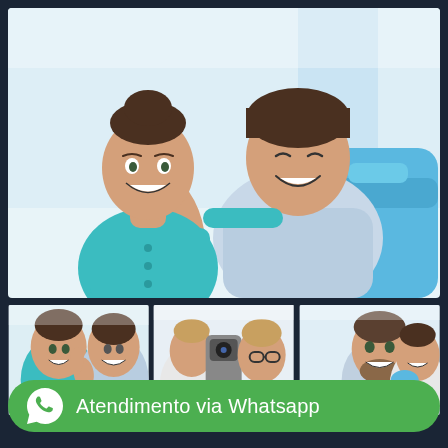[Figure (photo): Female dental professional in teal scrubs standing behind a smiling male patient in a dental chair who is giving a thumbs up. Bright clinical background.]
[Figure (photo): Strip of three smaller medical/dental photos: left - dental professional with patient giving thumbs up; center - optometry exam with doctor and equipment; right - smiling bearded patient with dental professional holding dental model.]
Atendimento via Whatsapp